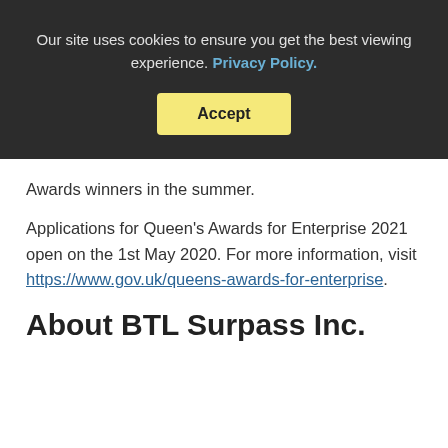Our site uses cookies to ensure you get the best viewing experience. Privacy Policy.
Accept
Awards winners in the summer.
Applications for Queen’s Awards for Enterprise 2021 open on the 1st May 2020. For more information, visit https://www.gov.uk/queens-awards-for-enterprise.
About BTL Surpass Inc.